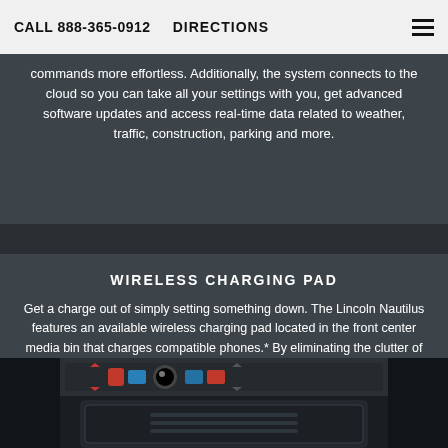CALL 888-365-0912   DIRECTIONS
commands more effortless. Additionally, the system connects to the cloud so you can take all your settings with you, get advanced software updates and access real-time data related to weather, traffic, construction, parking and more.
WIRELESS CHARGING PAD
Get a charge out of simply setting something down. The Lincoln Nautilus features an available wireless charging pad located in the front center media bin that charges compatible phones.* By eliminating the clutter of charging cords, it helps clear your space to give you easier access to the controls and personal belongings in the front cabin.
[Figure (photo): Close-up photo of Lincoln Nautilus front center console interior with buttons and controls]